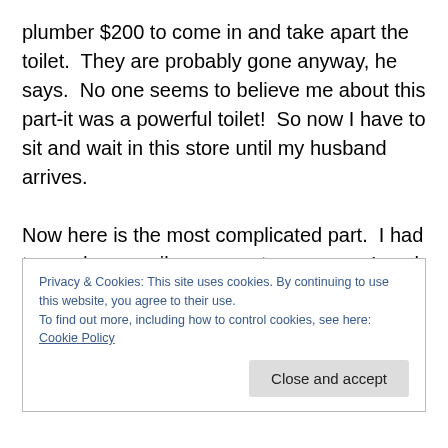plumber $200 to come in and take apart the toilet.  They are probably gone anyway, he says.  No one seems to believe me about this part-it was a powerful toilet!  So now I have to sit and wait in this store until my husband arrives.

Now here is the most complicated part.  I had to send an email message to everyone I work with trying to find someone who could meet me in town the next morning and let me in to the building so I could get the spare SUV key, and let me borrow their key until I could get another one made.  Because heaven forbid they would let us keep
Privacy & Cookies: This site uses cookies. By continuing to use this website, you agree to their use.
To find out more, including how to control cookies, see here: Cookie Policy
Close and accept